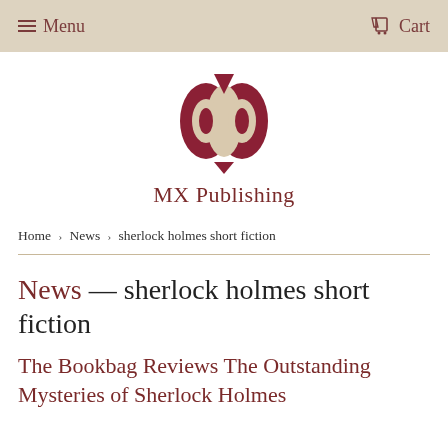Menu   Cart
[Figure (logo): MX Publishing logo — dark red stylized M/owl shape with beige accents above the text 'MX Publishing']
Home › News › sherlock holmes short fiction
News — sherlock holmes short fiction
The Bookbag Reviews The Outstanding Mysteries of Sherlock Holmes